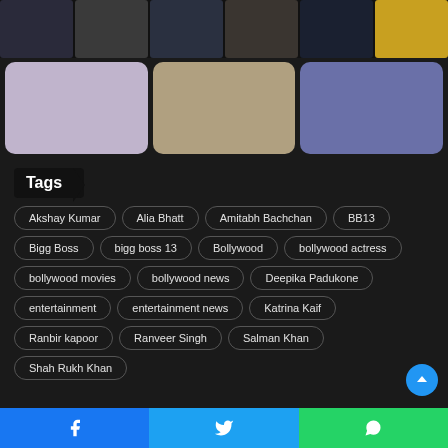[Figure (photo): Top strip of thumbnail photos (6 small images in a horizontal row)]
[Figure (photo): Three larger Bollywood celebrity photo cards: Kareena Kapoor, Taapsee Pannu, and another celebrity couple]
Tags
Akshay Kumar
Alia Bhatt
Amitabh Bachchan
BB13
Bigg Boss
bigg boss 13
Bollywood
bollywood actress
bollywood movies
bollywood news
Deepika Padukone
entertainment
entertainment news
Katrina Kaif
Ranbir kapoor
Ranveer Singh
Salman Khan
Shah Rukh Khan
Facebook | Twitter | WhatsApp